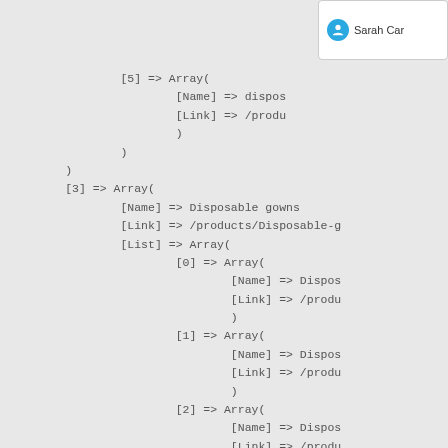[Figure (screenshot): Popup card showing a user icon and partial name 'Sarah Car']
[5] => Array(
    [Name] => dispos
    [Link] => /produ
    )
)
)
[3] => Array(
    [Name] => Disposable gowns
    [Link] => /products/Disposable-g
    [List] => Array(
        [0] => Array(
            [Name] => Dispos
            [Link] => /produ
            )
        [1] => Array(
            [Name] => Dispos
            [Link] => /produ
            )
        [2] => Array(
            [Name] => Dispos
            [Link] => /produ
            )